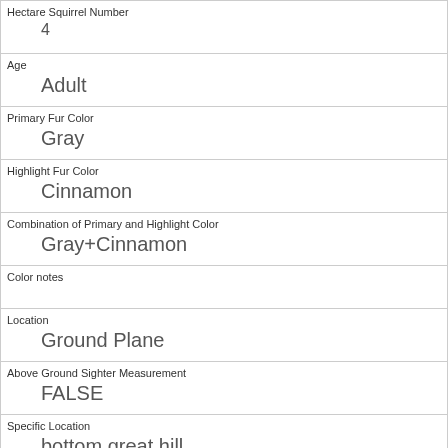| Field | Value |
| --- | --- |
| Hectare Squirrel Number | 4 |
| Age | Adult |
| Primary Fur Color | Gray |
| Highlight Fur Color | Cinnamon |
| Combination of Primary and Highlight Color | Gray+Cinnamon |
| Color notes |  |
| Location | Ground Plane |
| Above Ground Sighter Measurement | FALSE |
| Specific Location | bottom great hill |
| Running | 0 |
| Chasing |  |